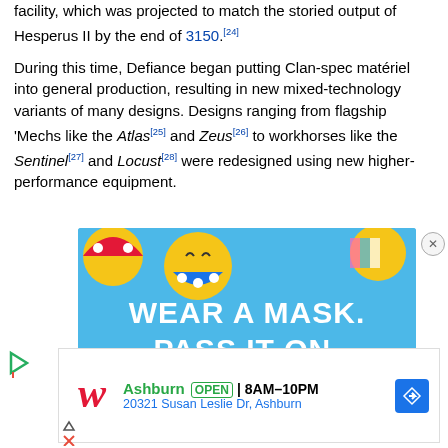facility, which was projected to match the storied output of Hesperus II by the end of 3150.[24]
During this time, Defiance began putting Clan-spec matériel into general production, resulting in new mixed-technology variants of many designs. Designs ranging from flagship 'Mechs like the Atlas[25] and Zeus[26] to workhorses like the Sentinel[27] and Locust[28] were redesigned using new higher-performance equipment.
[Figure (illustration): Public health advertisement with light blue background showing emoji-style faces wearing masks, with text 'WEAR A MASK. PASS IT ON. (SO YOU DON'T PASS IT ON.)']
[Figure (illustration): Walgreens advertisement showing: Walgreens cursive logo, Ashburn location with OPEN badge, hours 8AM-10PM, address 20321 Susan Leslie Dr, Ashburn, and a blue navigation arrow button.]